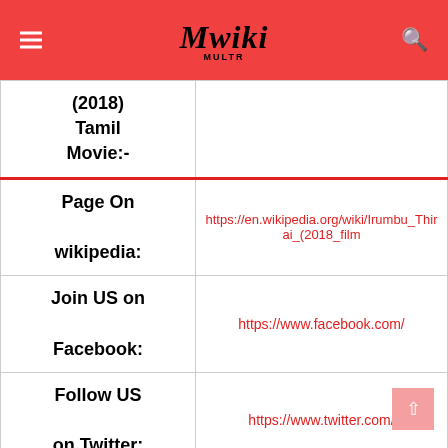Mwiki
| (2018) Tamil Movie:- |  |
| Page On wikipedia: | https://en.wikipedia.org/wiki/Irumbu_Thirai_(2018_film |
| Join US on Facebook: | https://www.facebook.com/ |
| Follow US on Twitter: | https://www.twitter.com/ |